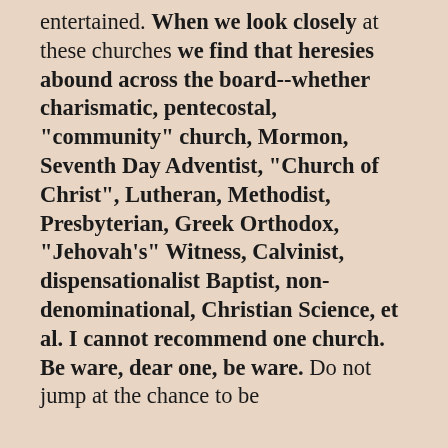entertained. When we look closely at these churches we find that heresies abound across the board--whether charismatic, pentecostal, "community" church, Mormon, Seventh Day Adventist, "Church of Christ", Lutheran, Methodist, Presbyterian, Greek Orthodox, "Jehovah's" Witness, Calvinist, dispensationalist Baptist, non-denominational, Christian Science, et al. I cannot recommend one church. Be ware, dear one, be ware. Do not jump at the chance to be